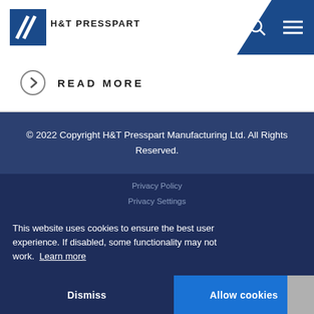[Figure (logo): H&T Presspart logo with blue diagonal lines and company name]
READ MORE
© 2022 Copyright H&T Presspart Manufacturing Ltd. All Rights Reserved.
Privacy Policy
Privacy Settings
Terms & Conditions of Supply
Terms & Conditions of Purchase
Imprint
Website by Patton Design
This website uses cookies to ensure the best user experience. If disabled, some functionality may not work.  Learn more
Dismiss
Allow cookies